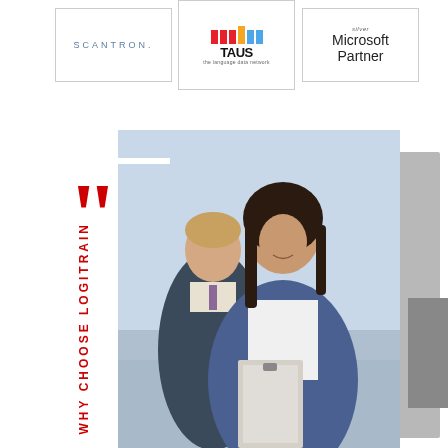[Figure (logo): Scantron logo - text in spaced blue-grey lettering]
[Figure (logo): TAUS logo - coloured bars above stylized text 'TAUS the language data network']
[Figure (logo): Silver Microsoft Partner logo]
[Figure (photo): Business professionals - woman in blue blazer holding clipboard in foreground, man in suit in background. Red large quotation marks overlaid on left. Vertical red text reading 'WHY CHOOSE LOGITRAIN' on left side.]